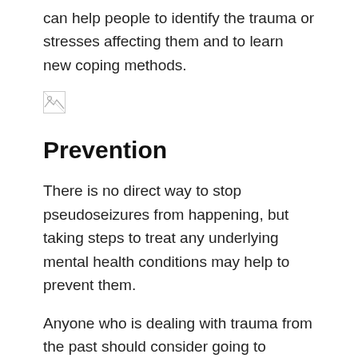can help people to identify the trauma or stresses affecting them and to learn new coping methods.
[Figure (other): Broken image placeholder thumbnail]
Prevention
There is no direct way to stop pseudoseizures from happening, but taking steps to treat any underlying mental health conditions may help to prevent them.
Anyone who is dealing with trauma from the past should consider going to counseling or therapy to develop positive methods to approach the issue. These may include relaxation practices, thought exercises, or other therapies.